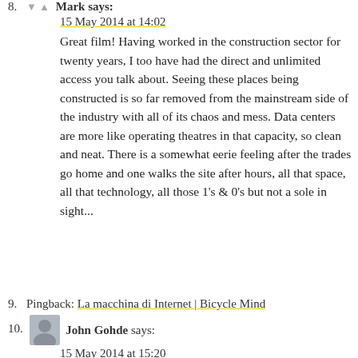8. Mark says: 15 May 2014 at 14:02
Great film! Having worked in the construction sector for twenty years, I too have had the direct and unlimited access you talk about. Seeing these places being constructed is so far removed from the mainstream side of the industry with all of its chaos and mess. Data centers are more like operating theatres in that capacity, so clean and neat. There is a somewhat eerie feeling after the trades go home and one walks the site after hours, all that space, all that technology, all those 1's & 0's but not a sole in sight...
9. Pingback: La macchina di Internet | Bicycle Mind
10. John Gohde says: 15 May 2014 at 15:20
Be that as it may, I do believe that my PC ha...